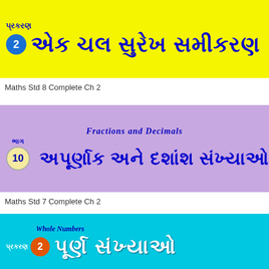[Figure (illustration): Yellow banner with Gujarati text for Maths Std 8 Ch 2 - Linear Equations in One Variable, showing chapter number 2 in blue circle]
Maths Std 8 Complete Ch 2
[Figure (illustration): Purple/lavender banner with English text 'Fractions and Decimals' and Gujarati text for fractions and decimals, chapter/part 10 in beige circle]
Maths Std 7 Complete Ch 2
[Figure (illustration): Cyan/turquoise banner with English text 'Whole Numbers' and Gujarati text for whole numbers, chapter 2 in orange circle]